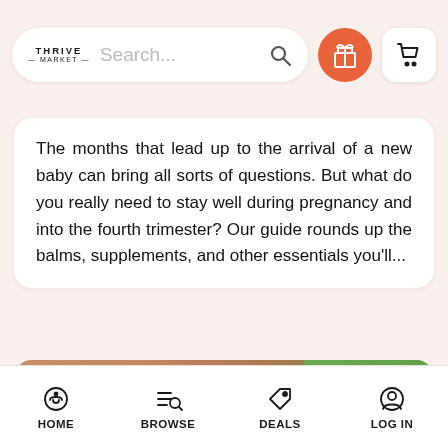Thrive Market — Search bar, gift icon, cart icon
The months that lead up to the arrival of a new baby can bring all sorts of questions. But what do you really need to stay well during pregnancy and into the fourth trimester? Our guide rounds up the balms, supplements, and other essentials you'll...
[Figure (photo): A hand holding a clear glass of water with green leaves and a yellow fruit (mango) in the background. Bold white text overlaid reads '6 Ways to Boost Immunity'.]
6 Ways to Boost Immunity
HOME  BROWSE  DEALS  LOG IN